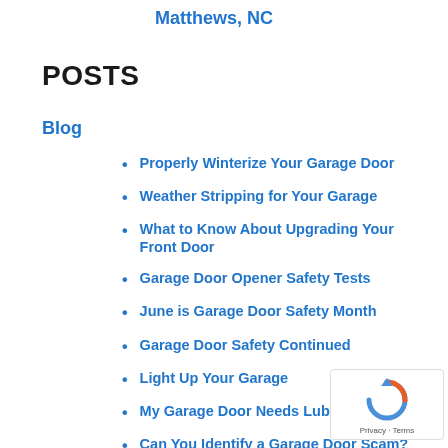Matthews, NC
POSTS
Blog
Properly Winterize Your Garage Door
Weather Stripping for Your Garage
What to Know About Upgrading Your Front Door
Garage Door Opener Safety Tests
June is Garage Door Safety Month
Garage Door Safety Continued
Light Up Your Garage
My Garage Door Needs Lubricated?
Can You Identify a Garage Door Scam?
[Figure (logo): reCAPTCHA privacy badge with circular arrow icon and Privacy · Terms text]